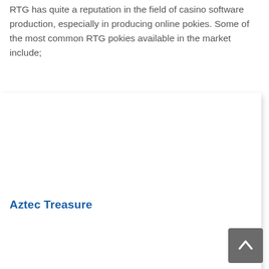RTG has quite a reputation in the field of casino software production, especially in producing online pokies. Some of the most common RTG pokies available in the market include;
[Figure (other): White box area with drop shadow, likely containing an image of a slot game]
Aztec Treasure
[Figure (other): Back to top button - grey rounded square with upward chevron arrow icon]